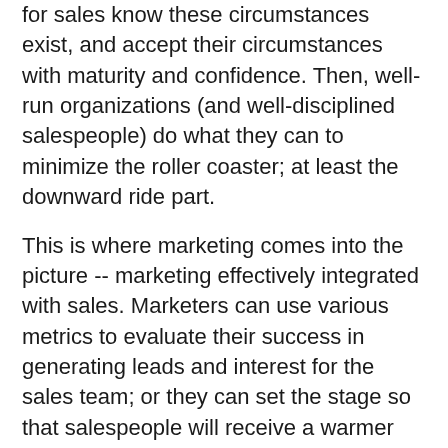for sales know these circumstances exist, and accept their circumstances with maturity and confidence. Then, well-run organizations (and well-disciplined salespeople) do what they can to minimize the roller coaster; at least the downward ride part.
This is where marketing comes into the picture -- marketing effectively integrated with sales. Marketers can use various metrics to evaluate their success in generating leads and interest for the sales team; or they can set the stage so that salespeople will receive a warmer reception when they approach them. Separating the two elements of marketing and sales and building institutional walls between them is not a good idea; but expecting operating personnel in other areas of the business (for example professional engineers and architects not carrying the 'rainmaker' designation) is asking for trouble. Simply put, putting the wrong person in the wrong job is not wise, and in most cases the traits required to be a good salesperson, marketer, or professional service provider are quite distinctive. A few people have common traits (ie, a salesperson who also appreciates marketing disciplines, or a professional person who is very